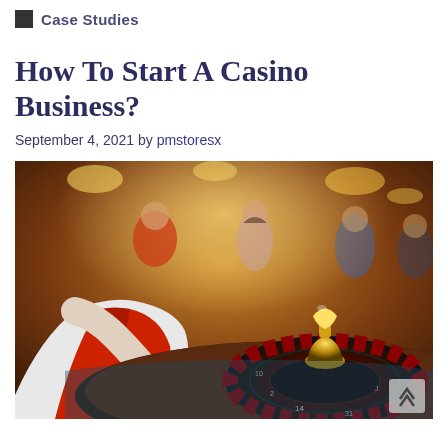Case Studies
How To Start A Casino Business?
September 4, 2021 by pmstoresx
[Figure (photo): A casino dealer reaching over a roulette wheel with a gold centerpiece. Blurred background shows people at casino tables under warm lighting.]